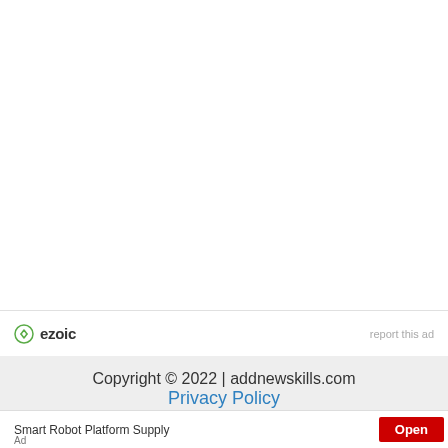[Figure (logo): Ezoic logo with green circle icon and 'ezoic' text in dark grey bold font, followed by 'report this ad' link in light grey on the right]
Copyright © 2022 | addnewskills.com
Privacy Policy
Terms of use
Smart Robot Platform Supply   Open   Ad